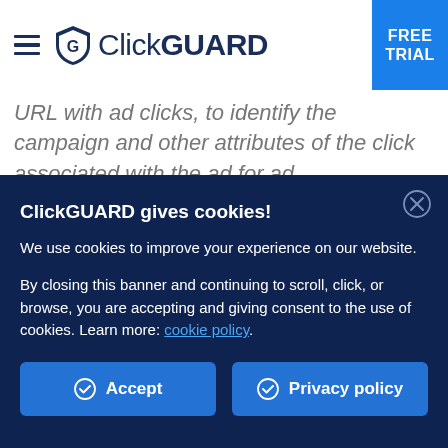ClickGUARD — FREE TRIAL
URL with ad clicks, to identify the campaign and other attributes of the click associated with the ad for ad
ClickGUARD gives cookies!
We use cookies to improve your experience on our website.
By closing this banner and continuing to scroll, click, or browse, you are accepting and giving consent to the use of cookies. Learn more: cookie policy.
Accept
Privacy policy